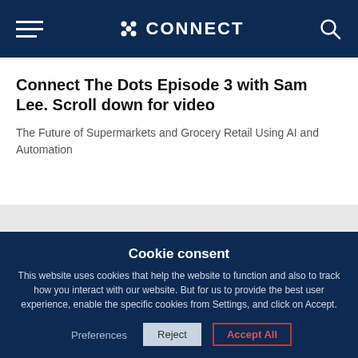CONNECT
Connect The Dots Episode 3 with Sam Lee. Scroll down for video
The Future of Supermarkets and Grocery Retail Using AI and Automation
Cookie consent
This website uses cookies that help the website to function and also to track how you interact with our website. But for us to provide the best user experience, enable the specific cookies from Settings, and click on Accept.
Preferences   Reject   Accept All